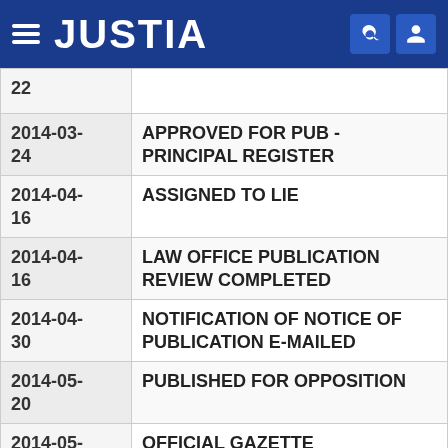[Figure (logo): Justia website header with hamburger menu, JUSTIA logo, search icon and user icon on blue background]
| Date | Event |
| --- | --- |
| 22 |  |
| 2014-03-24 | APPROVED FOR PUB - PRINCIPAL REGISTER |
| 2014-04-16 | ASSIGNED TO LIE |
| 2014-04-16 | LAW OFFICE PUBLICATION REVIEW COMPLETED |
| 2014-04-30 | NOTIFICATION OF NOTICE OF PUBLICATION E-MAILED |
| 2014-05-20 | PUBLISHED FOR OPPOSITION |
| 2014-05-20 | OFFICIAL GAZETTE PUBLICATION CONFIRMATION E-MAILED |
| 2014-07-15 | NOA E-MAILED - SOU REQUIRED FROM APPLICANT |